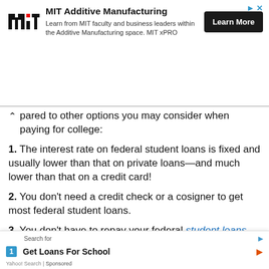[Figure (other): MIT Additive Manufacturing advertisement banner with MIT logo, text about learning from MIT faculty and business leaders within the Additive Manufacturing space (MIT xPRO), and a 'Learn More' button.]
pared to other options you may consider when paying for college:
1. The interest rate on federal student loans is fixed and usually lower than that on private loans—and much lower than that on a credit card!
2. You don't need a credit check or a cosigner to get most federal student loans.
3. You don't have to repay your federal student loans until after you leave college or drop below half-time.
4. If you show financial need, the government pays the in... in schoo...
[Figure (other): Yahoo Search sponsored overlay: 'Search for' label, then result '1 Get Loans For School' with orange arrow.]